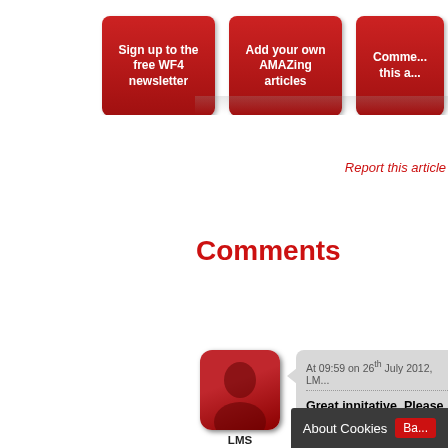[Figure (screenshot): Three red rounded buttons partially visible: 'Sign up to the free WF4 newsletter', 'Add your own AMAZing articles', 'Comme... this a...']
Report this article
Comments
[Figure (illustration): Red rounded square avatar with silhouette figure, labeled LMS Glamorgan]
At 09:59 on 26th July 2012, LM...
Great innitative. Please h... hopefully bring cricket to...
www.lastmanstands.com...
You need to log in before you can do that! It'... AMA network and completely free.
Sign in or join now
About Cookies